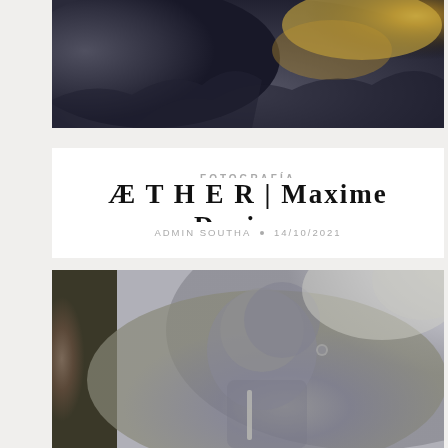[Figure (photo): Close-up photograph of a dark rocky formation with gold/yellow mineral deposits at the top, against a dark background]
FOTOGRAFÍA
Æ T H E R | Maxime Daviron
ADMIN SOUTHA • 14/10/2021
[Figure (photo): Portrait of a woman with a metallic/robotic head piece showing gears, in profile view, touching her lips, with a blurred background]